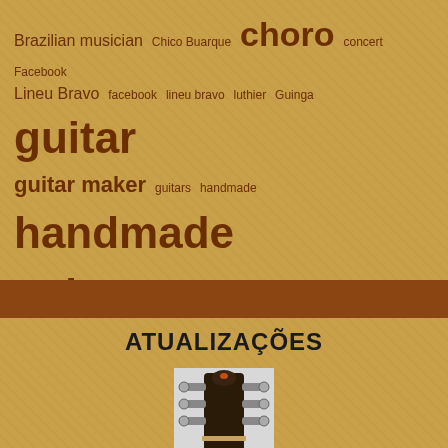[Figure (infographic): Tag cloud with music and guitar-related terms in varying sizes and weights, brown/dark orange color on tan background. Terms include: Brazilian musician, Chico Buarque, choro, concert, Facebook, Lineu Bravo, facebook, lineu bravo, luthier, Guinga, guitar, guitar maker, guitars, handmade, handmade guitar, handmade instruments, instrument, instruments, Lineu Bravo, Lineu Bravo guitar, Lineu Bravo Luthier, luthier, Maurício Carrilho, music, musician, Rogério Caetano, taubaté, wood, workshop, Yamandú Costa]
ATUALIZAÇÕES
[Figure (photo): Photo of a guitar headstock/tuning pegs viewed from above, dark guitar body with tuning machines visible, light background]
Dicas do luthier Lineu Bravo para